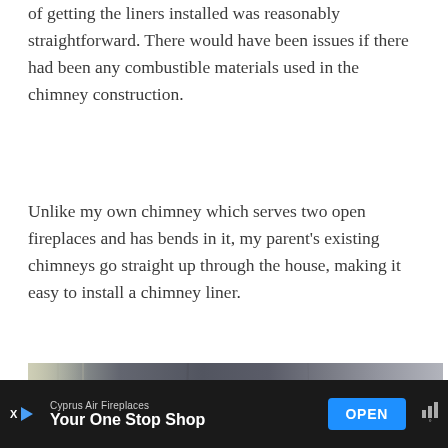of getting the liners installed was reasonably straightforward. There would have been issues if there had been any combustible materials used in the chimney construction.
Unlike my own chimney which serves two open fireplaces and has bends in it, my parent's existing chimneys go straight up through the house, making it easy to install a chimney liner.
[Figure (photo): Close-up photo of the inside of a chimney, showing dark sooty brickwork with grey and white mineral deposits on the sides.]
Cyprus Air Fireplaces — Your One Stop Shop — OPEN